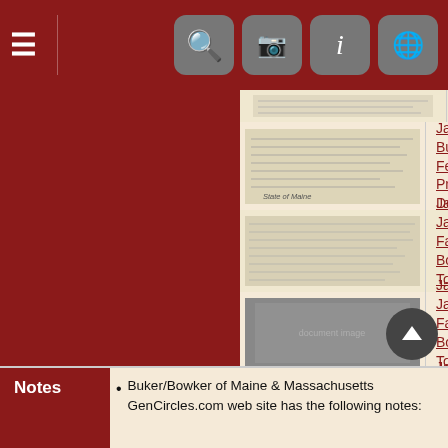Navigation bar with menu and search/camera/info/globe icons
James Buker 19 Feb 1839 Probate Document
James & Jane Buker Family in Bowdoinham Town Records
James & Jane Buker Family in Bowdoinham Town Records
James & Ruth Bowker Family in Bowdoinham Town Records
James & Ruth Bowker Family in Bowdoinham Town Records
6 Jul 1799 Pew Subscriptions for Methodist Church Near Hall's Corner
The James Bucker Jr. I believe is James Buker Jr.
Notes
Buker/Bowker of Maine & Massachusetts GenCircles.com web site has the following notes: